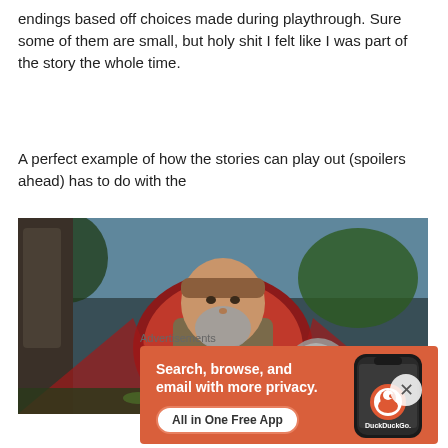endings based off choices made during playthrough. Sure some of them are small, but holy shit I felt like I was part of the story the whole time.
A perfect example of how the stories can play out (spoilers ahead) has to do with the
[Figure (photo): Screenshot from a video game (The Witcher 3) showing a bearded, heavyset man in red cape and armor sitting outdoors. A close button (X) appears in the bottom-right corner of the image.]
Advertisements
[Figure (infographic): DuckDuckGo advertisement on orange/red background. Text reads: Search, browse, and email with more privacy. All in One Free App. Shows a smartphone with DuckDuckGo logo and app icon.]